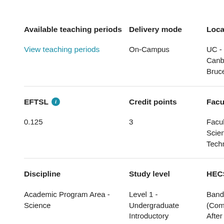| Available teaching periods | Delivery mode | Location |
| --- | --- | --- |
| View teaching periods | On-Campus | UC - Canberra Bruce |
| EFTSL (i) | Credit points | Faculty |
| 0.125 | 3 | Faculty Of Science And Technology |
| Discipline | Study level | HECS Band |
| Academic Program Area - Science | Level 1 - Undergraduate Introductory Unit | Band 2 20... (Commencing After 1 Ja... 2021) Band 3 20... (Commencing... |